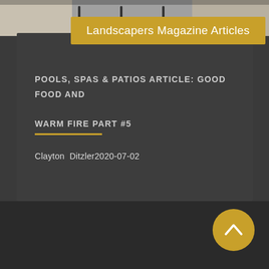[Figure (photo): Outdoor patio furniture photo strip at the top of a magazine article card]
Landscapers Magazine Articles
POOLS, SPAS & PATIOS ARTICLE: GOOD FOOD AND WARM FIRE PART #5
Clayton Ditzler2020-07-02
[Figure (other): Gold circular back-to-top button with upward chevron arrow]